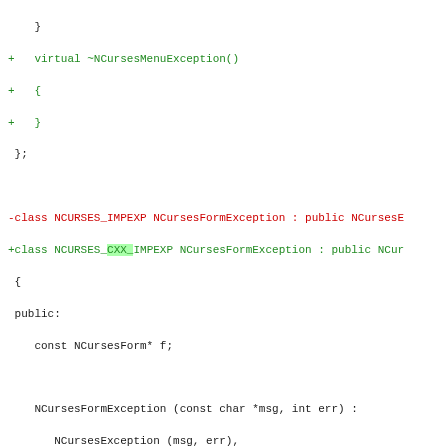Code diff showing NCursesFormException class modifications
+ virtual ~NCursesMenuException()
+ {
+ }
 };

-class NCURSES_IMPEXP NCursesFormException : public NCursesE
+class NCURSES_CXX_IMPEXP NCursesFormException : public NCur
 {
 public:
    const NCursesForm* f;

    NCursesFormException (const char *msg, int err) :
       NCursesException (msg, err),
-      f ((NCursesForm*)0)
+      f (0)
       {};

    NCursesFormException (const NCursesForm* form,
@@ -247,7 +299,7 @@ public:

    NCursesFormException (int err) :
       NCursesException ("form library error", err),
-      f ((NCursesForm*)0)
+      f (0)
       {};

    NCursesFormException (const NCursesForm* form,
@@ -256,37 +308,84 @@ public:
       f (form)
       {};